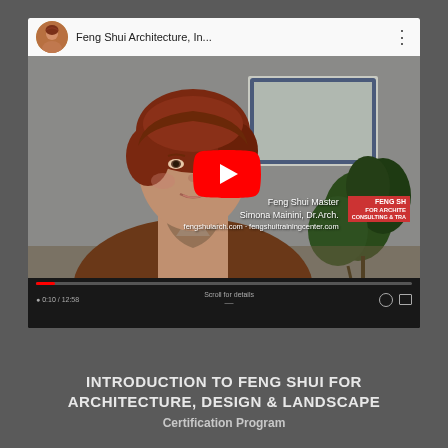[Figure (screenshot): YouTube video player showing a woman (Feng Shui Master Simona Mainini, Dr.Arch.) speaking. The video title bar reads 'Feng Shui Architecture, In...' with a channel avatar. A large red YouTube play button is overlaid on the center. The bottom overlay text reads 'Feng Shui Master Simona Mainini, Dr.Arch. fengshuiarch.com - fengshuitrainingcenter.com' with a red FENG SH logo. The player controls show 0:10 / 12:58 timestamp and 'Scroll for details' text.]
INTRODUCTION TO FENG SHUI FOR ARCHITECTURE, DESIGN & LANDSCAPE Certification Program